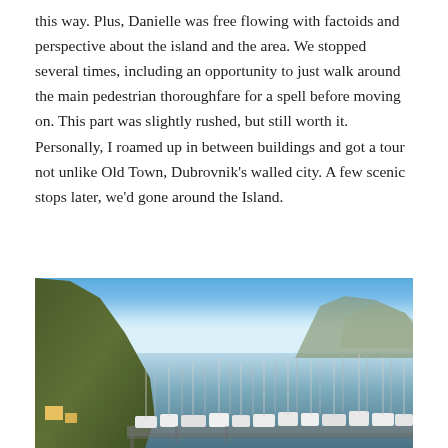this way. Plus, Danielle was free flowing with factoids and perspective about the island and the area. We stopped several times, including an opportunity to just walk around the main pedestrian thoroughfare for a spell before moving on. This part was slightly rushed, but still worth it. Personally, I roamed up in between buildings and got a tour not unlike Old Town, Dubrovnik's walled city. A few scenic stops later, we'd gone around the Island.
[Figure (photo): Panoramic view of a marina with numerous sailboats and motor boats moored in calm blue water. A steep green-brown hillside rises on the left, with some colorful buildings visible at its base. Another hill is visible in the far right background. Clear blue sky above.]